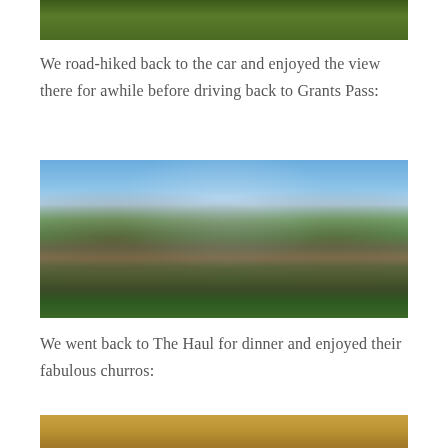[Figure (photo): Partial view of green grass/vegetation at the top of the page (cropped)]
We road-hiked back to the car and enjoyed the view there for awhile before driving back to Grants Pass:
[Figure (photo): Panoramic landscape photo showing mountain valley with burned trees on slopes, green vegetation in valley, blue sky with clouds]
We went back to The Haul for dinner and enjoyed their fabulous churros:
[Figure (photo): Partial view of churros on a plate, cropped at bottom of page]